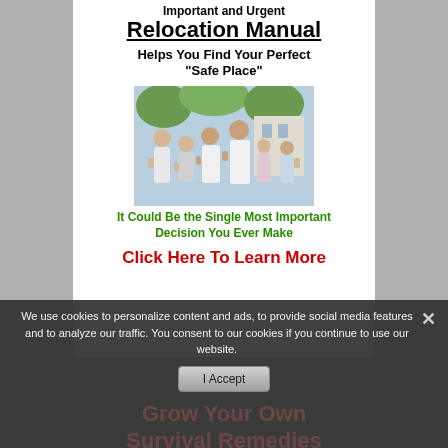Important and Urgent Relocation Manual
Helps You Find Your Perfect "Safe Place"
[Figure (photo): A happy multi-generational family giving thumbs up outdoors]
It Could Be the Single Most Important Decision You Ever Make
Click Here To Learn More
We use cookies to personalize content and ads, to provide social media features and to analyze our traffic. You consent to our cookies if you continue to use our website.
Grow Your Own Survival Remedies